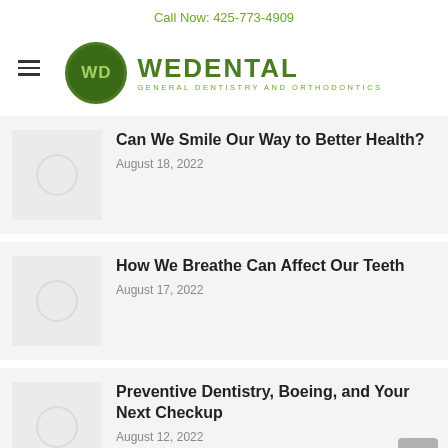Call Now: 425-773-4909
[Figure (logo): WeDental logo with green circle containing WD initials, and text WEDENTAL GENERAL DENTISTRY AND ORTHODONTICS]
Can We Smile Our Way to Better Health?
August 18, 2022
How We Breathe Can Affect Our Teeth
August 17, 2022
Preventive Dentistry, Boeing, and Your Next Checkup
August 12, 2022